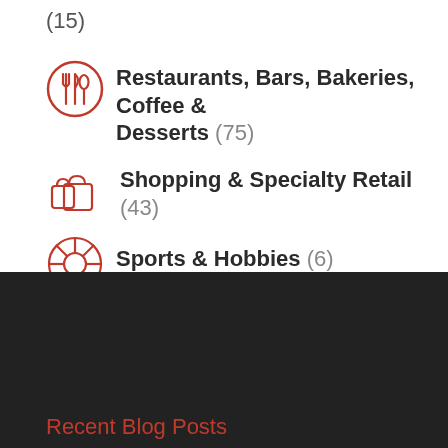(15)
Restaurants, Bars, Bakeries, Coffee & Desserts (75)
Shopping & Specialty Retail (43)
Sports & Hobbies (6)
Recent Blog Posts